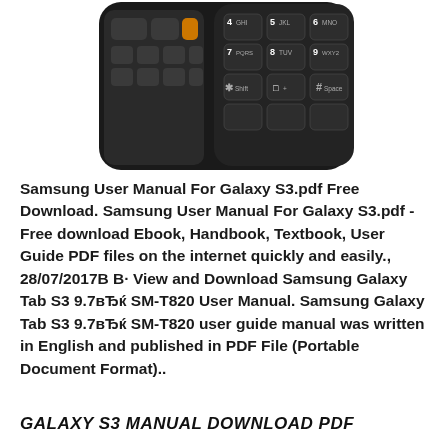[Figure (photo): Photo of a Samsung mobile phone with a physical QWERTY/numeric keypad showing keys including 4 GHI, 5 JKL, 6 MNO, 7 PQRS, 8 TUV, 9 WXY2, * Shift, + button, # Space, and other navigation keys.]
Samsung User Manual For Galaxy S3.pdf Free Download. Samsung User Manual For Galaxy S3.pdf - Free download Ebook, Handbook, Textbook, User Guide PDF files on the internet quickly and easily., 28/07/2017В В· View and Download Samsung Galaxy Tab S3 9.7вЂќ SM-T820 User Manual. Samsung Galaxy Tab S3 9.7вЂќ SM-T820 user guide manual was written in English and published in PDF File (Portable Document Format)..
GALAXY S3 MANUAL DOWNLOAD PDF